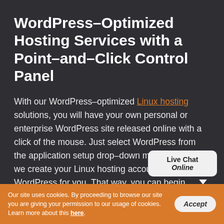WordPress–Optimized Hosting Services with a Point–and–Click Control Panel
With our WordPress–optimized Linux hosting solutions, you will have your own personal or enterprise WordPress site released online with a click of the mouse. Just select WordPress from the application setup drop–down menu and when we create your Linux hosting account, we'll install WordPress for you. That way, you can begin working on your website as soon as the signup procedure has been done and you won't need to deal with any sort of
[Figure (other): Live Chat online chat bubble widget in bottom right corner showing 'Live Chat' and 'Online' text]
Our site uses cookies. By proceeding to browse our site you are giving your permission to our usage of cookies. Learn more about this here.